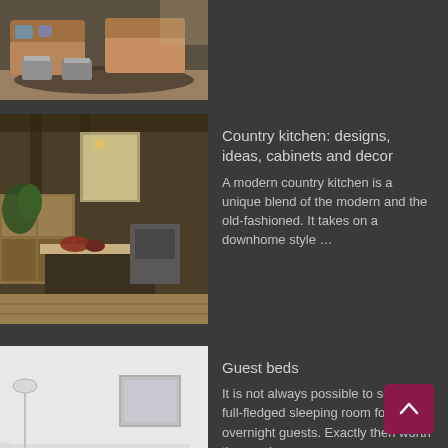[Figure (photo): Photo of a living room with brown leather sofas and silver/concrete coffee tables on a dark rug]
[Figure (photo): Photo of a rustic country kitchen with wooden cabinets, plants, and kitchen islands]
Country kitchen: designs, ideas, cabinets and decor
A modern country kitchen is a unique blend of the modern and the old-fashioned. It takes on a downhome style …
[Figure (photo): Photo of a white minimalist guest bed / daybed with grey pillows and small stools]
Guest beds
It is not always possible to set up a full-fledged sleeping room for overnight guests. Exactly then worth the purchase …